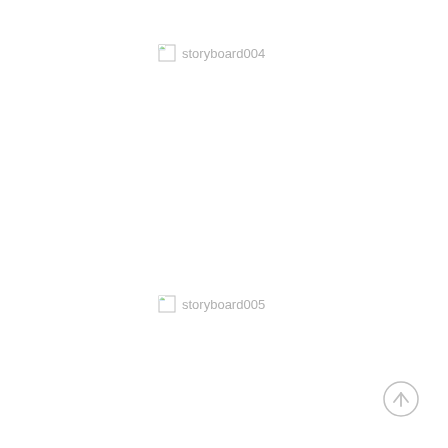[Figure (other): Broken image placeholder with label 'storyboard004']
[Figure (other): Broken image placeholder with label 'storyboard005']
[Figure (other): Circular up-arrow button icon]